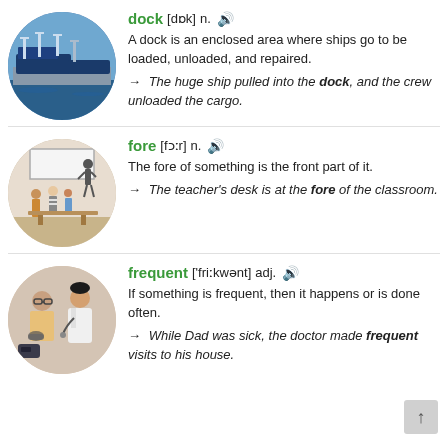[Figure (photo): Circular photo of a busy shipping dock with large cargo ships and cranes]
dock [dɒk] n. 🔊 A dock is an enclosed area where ships go to be loaded, unloaded, and repaired. → The huge ship pulled into the dock, and the crew unloaded the cargo.
[Figure (photo): Circular photo of a classroom with students and a teacher at the front]
fore [fɔːr] n. 🔊 The fore of something is the front part of it. → The teacher's desk is at the fore of the classroom.
[Figure (photo): Circular photo of a doctor checking a patient's blood pressure]
frequent ['friːkwənt] adj. 🔊 If something is frequent, then it happens or is done often. → While Dad was sick, the doctor made frequent visits to his house.